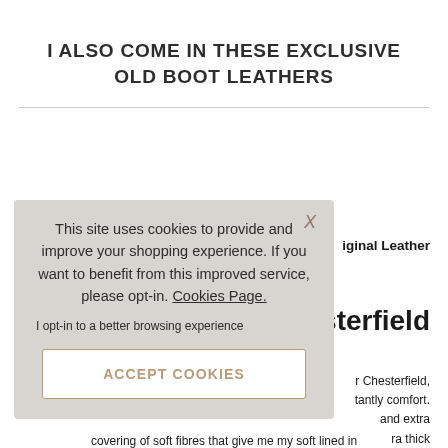I ALSO COME IN THESE EXCLUSIVE OLD BOOT LEATHERS
Original Leather
esterfield
r Chesterfield, tantly comfort. and extra ra thick
covering of soft fibres that give me my soft lined in
This site uses cookies to provide and improve your shopping experience. If you want to benefit from this improved service, please opt-in. Cookies Page.
I opt-in to a better browsing experience
ACCEPT COOKIES